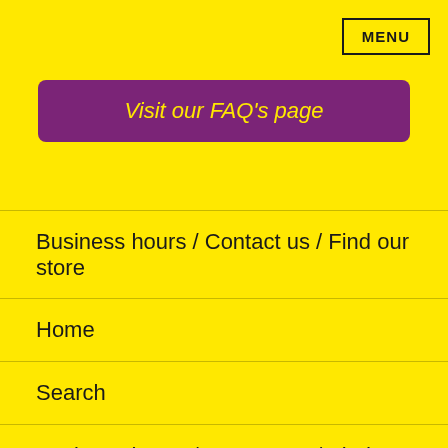MENU
Visit our FAQ's page
Home
Search
Business hours / Contact us / Find our store
Costumes & Accessories
Balloons